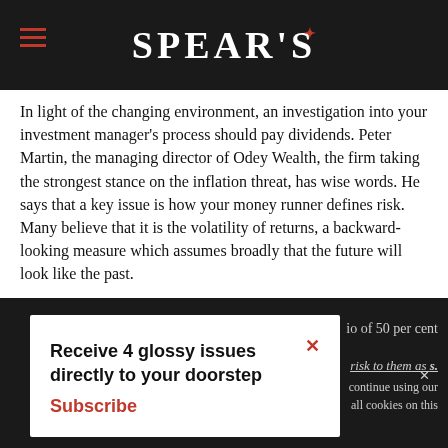SPEAR'S
In light of the changing environment, an investigation into your investment manager's process should pay dividends. Peter Martin, the managing director of Odey Wealth, the firm taking the strongest stance on the inflation threat, has wise words. He says that a key issue is how your money runner defines risk. Many believe that it is the volatility of returns, a backward-looking measure which assumes broadly that the future will look like the past.
io of 50 per cent
risk to them as s.
Receive 4 glossy issues directly to your doorstep Subscribe
Continue  Learn more